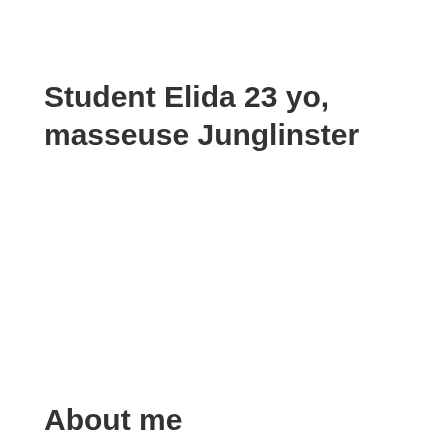Student Elida 23 yo, masseuse Junglinster
About me